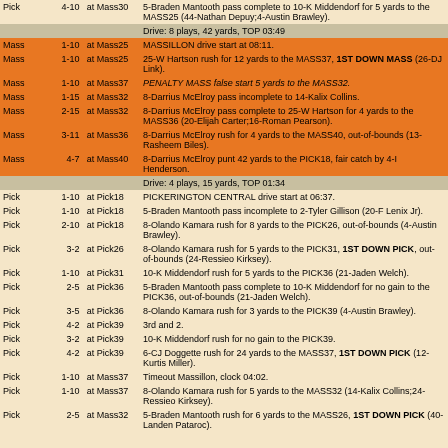| Team | Down-Dist | Position | Play Description |
| --- | --- | --- | --- |
| Pick | 4-10 | at Mass30 | 5-Braden Mantooth pass complete to 10-K Middendorf for 5 yards to the MASS25 (44-Nathan Depuy;4-Austin Brawley). |
|  |  |  | Drive: 8 plays, 42 yards, TOP 03:49 |
| Mass | 1-10 | at Mass25 | MASSILLON drive start at 08:11. |
| Mass | 1-10 | at Mass25 | 25-W Hartson rush for 12 yards to the MASS37, 1ST DOWN MASS (26-DJ Link). |
| Mass | 1-10 | at Mass37 | PENALTY MASS false start 5 yards to the MASS32. |
| Mass | 1-15 | at Mass32 | 8-Darrius McElroy pass incomplete to 14-Kalix Collins. |
| Mass | 2-15 | at Mass32 | 8-Darrius McElroy pass complete to 25-W Hartson for 4 yards to the MASS36 (20-Elijah Carter;16-Roman Pearson). |
| Mass | 3-11 | at Mass36 | 8-Darrius McElroy rush for 4 yards to the MASS40, out-of-bounds (13-Rasheem Biles). |
| Mass | 4-7 | at Mass40 | 8-Darrius McElroy punt 42 yards to the PICK18, fair catch by 4-I Henderson. |
|  |  |  | Drive: 4 plays, 15 yards, TOP 01:34 |
| Pick | 1-10 | at Pick18 | PICKERINGTON CENTRAL drive start at 06:37. |
| Pick | 1-10 | at Pick18 | 5-Braden Mantooth pass incomplete to 2-Tyler Gillison (20-F Lenix Jr). |
| Pick | 2-10 | at Pick18 | 8-Olando Kamara rush for 8 yards to the PICK26, out-of-bounds (4-Austin Brawley). |
| Pick | 3-2 | at Pick26 | 8-Olando Kamara rush for 5 yards to the PICK31, 1ST DOWN PICK, out-of-bounds (24-Ressieo Kirksey). |
| Pick | 1-10 | at Pick31 | 10-K Middendorf rush for 5 yards to the PICK36 (21-Jaden Welch). |
| Pick | 2-5 | at Pick36 | 5-Braden Mantooth pass complete to 10-K Middendorf for no gain to the PICK36, out-of-bounds (21-Jaden Welch). |
| Pick | 3-5 | at Pick36 | 8-Olando Kamara rush for 3 yards to the PICK39 (4-Austin Brawley). |
| Pick | 4-2 | at Pick39 | 3rd and 2. |
| Pick | 3-2 | at Pick39 | 10-K Middendorf rush for no gain to the PICK39. |
| Pick | 4-2 | at Pick39 | 6-CJ Doggette rush for 24 yards to the MASS37, 1ST DOWN PICK (12-Kurtis Miller). |
| Pick | 1-10 | at Mass37 | Timeout Massillon, clock 04:02. |
| Pick | 1-10 | at Mass37 | 8-Olando Kamara rush for 5 yards to the MASS32 (14-Kalix Collins;24-Ressieo Kirksey). |
| Pick | 2-5 | at Mass32 | 5-Braden Mantooth rush for 6 yards to the MASS26, 1ST DOWN PICK (40-Landen Pataroc). |